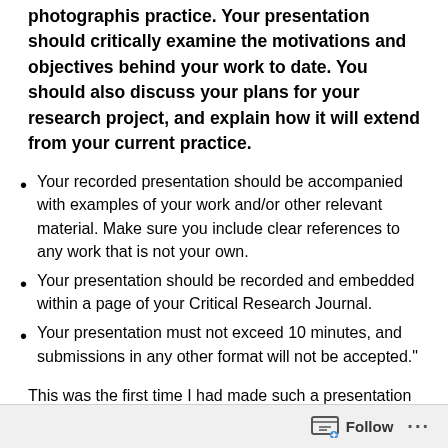photographis practice. Your presentation should critically examine the motivations and objectives behind your work to date. You should also discuss your plans for your research project, and explain how it will extend from your current practice.
Your recorded presentation should be accompanied with examples of your work and/or other relevant material. Make sure you include clear references to any work that is not your own.
Your presentation should be recorded and embedded within a page of your Critical Research Journal.
Your presentation must not exceed 10 minutes, and submissions in any other format will not be accepted."
This was the first time I had made such a presentation although I am used to lecturing live and writing academic
Follow